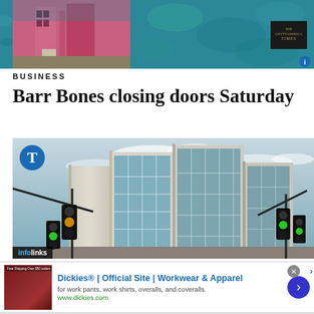[Figure (photo): Top collage: teal/blue textured background on left and right panels, center panel shows a building with pink/red exterior, newspaper logo overlay bottom right]
BUSINESS
Barr Bones closing doors Saturday
[Figure (photo): Photo of a modern multi-story office building with glass facade and traffic lights in foreground, T logo circle overlay top left, infolinks badge bottom left]
[Figure (screenshot): Advertisement: Dickies Official Site Workwear and Apparel. For work pants, work shirts, overalls, and coveralls. www.dickies.com]